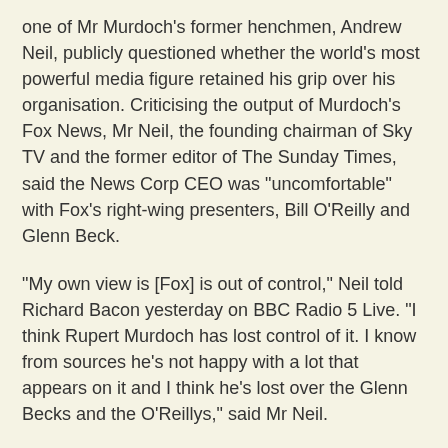one of Mr Murdoch's former henchmen, Andrew Neil, publicly questioned whether the world's most powerful media figure retained his grip over his organisation. Criticising the output of Murdoch's Fox News, Mr Neil, the founding chairman of Sky TV and the former editor of The Sunday Times, said the News Corp CEO was "uncomfortable" with Fox's right-wing presenters, Bill O'Reilly and Glenn Beck.
"My own view is [Fox] is out of control," Neil told Richard Bacon yesterday on BBC Radio 5 Live. "I think Rupert Murdoch has lost control of it. I know from sources he's not happy with a lot that appears on it and I think he's lost over the Glenn Becks and the O'Reillys," said Mr Neil.
"[Murdoch] is uncomfortable with Glenn Beck and various other positions they take and some of the things they say." Neil, who fell out with Mr Murdoch in the early Nineties, claimed he had